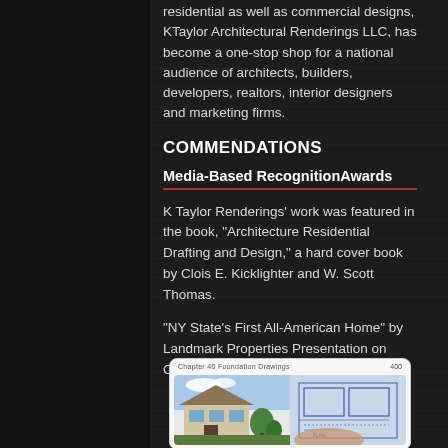residential as well as commercial designs, KTaylor Architectural Renderings LLC, has become a one-stop shop for a national audience of architects, builders, developers, realtors, interior designers and marketing firms.
COMMENDATIONS
Media-Based RecognitionAwards
K Taylor Renderings' work was featured in the book, "Architecture Residential Drafting and Design," a hard cover book by Clois E. Kicklighter and W. Scott Thomas.
"NY State's First All-American Home" by Landmark Properties Presentation on Chanel 12 News.
[Figure (photo): Image of an open book showing architectural drawings, with blueprints and a rendered house image visible on the pages.]